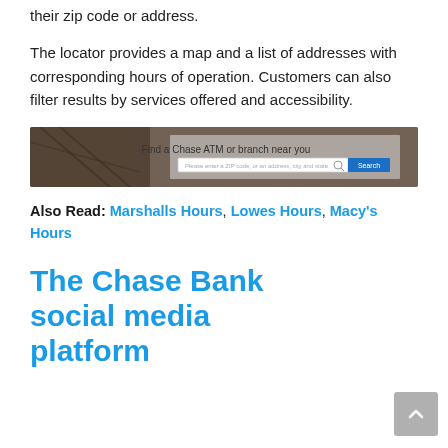their zip code or address.
The locator provides a map and a list of addresses with corresponding hours of operation. Customers can also filter results by services offered and accessibility.
[Figure (screenshot): Chase Bank ATM/branch locator search interface showing 'Find a Chase ATM or branch near you' with a search input field and blue Search button]
Also Read: Marshalls Hours, Lowes Hours, Macy's Hours
The Chase Bank social media platform